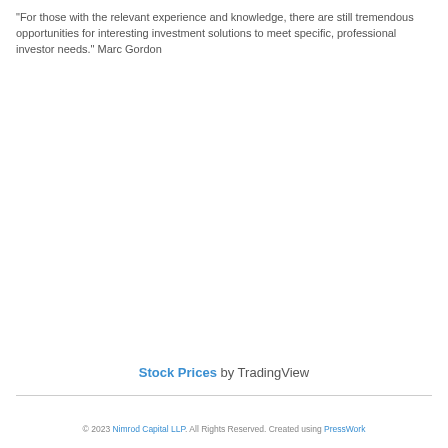"For those with the relevant experience and knowledge, there are still tremendous opportunities for interesting investment solutions to meet specific, professional investor needs." Marc Gordon
Stock Prices by TradingView
© 2023 Nimrod Capital LLP. All Rights Reserved. Created using PressWork